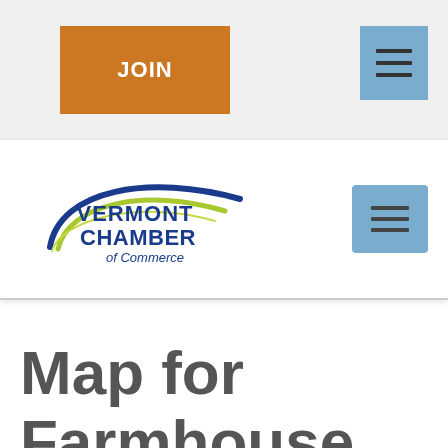JOIN
[Figure (logo): Vermont Chamber of Commerce logo with blue swoosh arc, yellow-green arc, and blue bold text reading VERMONT CHAMBER of Commerce]
Map for Farmhouse Inn at Robinson Farm